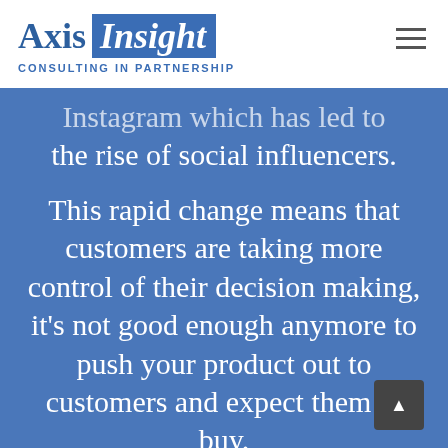Axis Insight — CONSULTING IN PARTNERSHIP
Instagram which has led to the rise of social influencers.
This rapid change means that customers are taking more control of their decision making, it's not good enough anymore to push your product out to customers and expect them to buy.